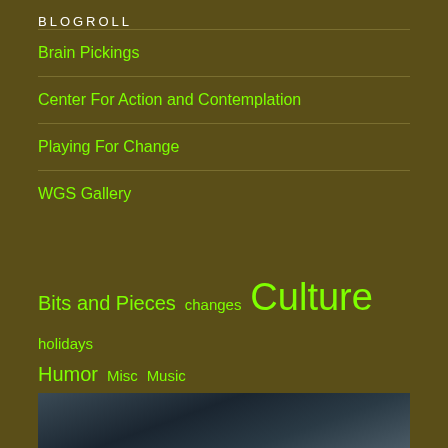BLOGROLL
Brain Pickings
Center For Action and Contemplation
Playing For Change
WGS Gallery
Bits and Pieces  changes  Culture  holidays  Humor  Misc  Music  Spirituality/Religion  WordPress/Blogging  writing
[Figure (photo): Partial dark blue-gray photo at bottom of page]